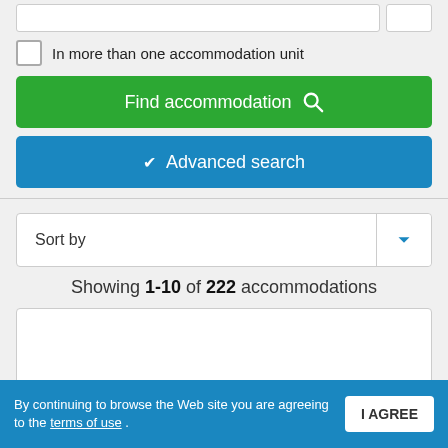In more than one accommodation unit
Find accommodation
Advanced search
Sort by
Showing 1-10 of 222 accommodations
By continuing to browse the Web site you are agreeing to the terms of use .